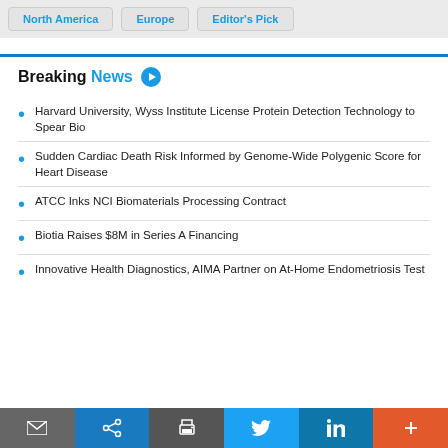North America | Europe | Editor's Pick
Breaking News
Harvard University, Wyss Institute License Protein Detection Technology to Spear Bio
Sudden Cardiac Death Risk Informed by Genome-Wide Polygenic Score for Heart Disease
ATCC Inks NCI Biomaterials Processing Contract
Biotia Raises $8M in Series A Financing
Innovative Health Diagnostics, AIMA Partner on At-Home Endometriosis Test